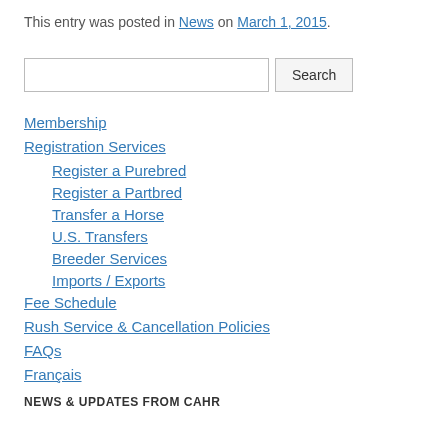This entry was posted in News on March 1, 2015.
Membership
Registration Services
Register a Purebred
Register a Partbred
Transfer a Horse
U.S. Transfers
Breeder Services
Imports / Exports
Fee Schedule
Rush Service & Cancellation Policies
FAQs
Français
NEWS & UPDATES FROM CAHR